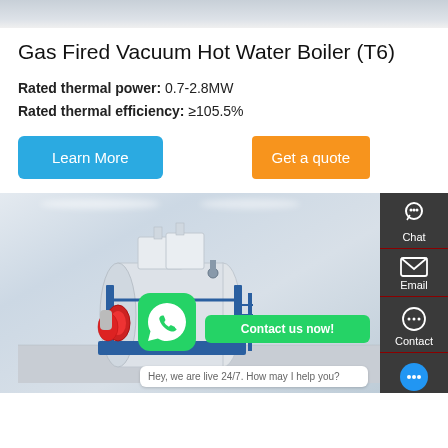[Figure (photo): Top banner image showing a light grey ceiling/interior background]
Gas Fired Vacuum Hot Water Boiler (T6)
Rated thermal power: 0.7-2.8MW
Rated thermal efficiency: ≥105.5%
Learn More | Get a quote
[Figure (photo): Product photo of a gas fired vacuum hot water boiler unit in a warehouse setting, cylindrical white/grey body with blue frame and red burner]
Chat | Email | Contact
Hey, we are live 24/7. How may I help you?